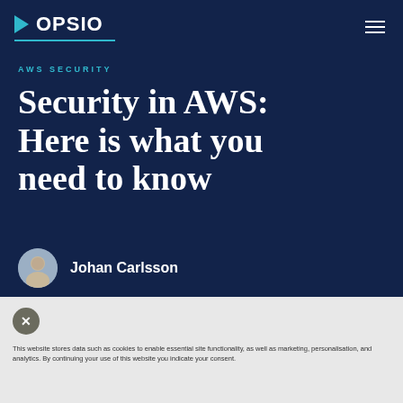OPSIO
AWS SECURITY
Security in AWS: Here is what you need to know
Johan Carlsson
This website stores data such as cookies to enable essential site functionality, as well as marketing, personalisation, and analytics. By continuing your use of this website you indicate your consent.